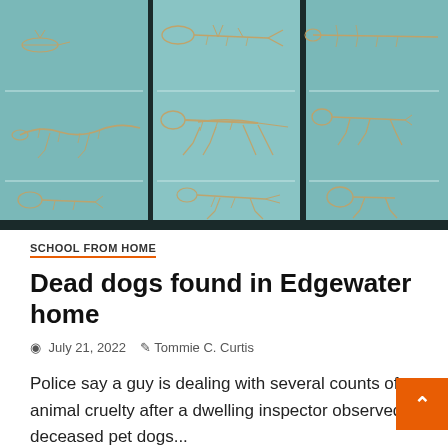[Figure (photo): Museum display case showing multiple animal skeletons mounted on glass shelves against a teal/light blue background. Skeletons include various sizes of animals including what appear to be birds, fish, and small mammals displayed on metal stands.]
SCHOOL FROM HOME
Dead dogs found in Edgewater home
July 21, 2022   Tommie C. Curtis
Police say a guy is dealing with several counts of animal cruelty after a dwelling inspector observed deceased pet dogs...